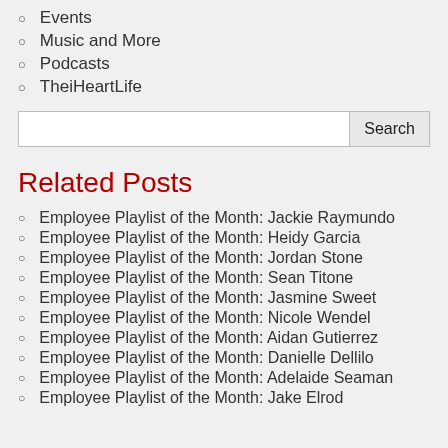Events
Music and More
Podcasts
TheiHeartLife
Related Posts
Employee Playlist of the Month: Jackie Raymundo
Employee Playlist of the Month: Heidy Garcia
Employee Playlist of the Month: Jordan Stone
Employee Playlist of the Month: Sean Titone
Employee Playlist of the Month: Jasmine Sweet
Employee Playlist of the Month: Nicole Wendel
Employee Playlist of the Month: Aidan Gutierrez
Employee Playlist of the Month: Danielle Dellilo
Employee Playlist of the Month: Adelaide Seaman
Employee Playlist of the Month: Jake Elrod